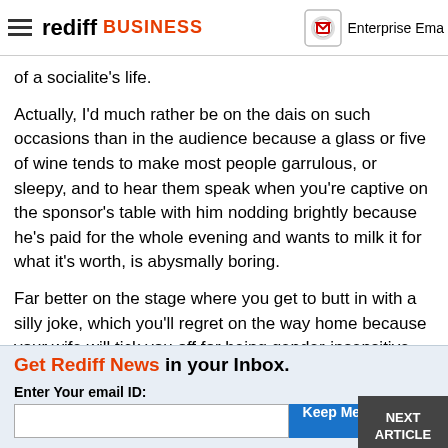rediff BUSINESS | Enterprise Email
of a socialite's life.
Actually, I'd much rather be on the dais on such occasions than in the audience because a glass or five of wine tends to make most people garrulous, or sleepy, and to hear them speak when you're captive on the sponsor's table with him nodding brightly because he's paid for the whole evening and wants to milk it for what it's worth, is abysmally boring.
Far better on the stage where you get to butt in with a silly joke, which you'll regret on the way home because your wife will tick you off for being gender-insensitive, or ill-informed, but which did win you a laugh or two from the front row.
As for the back of the room, well the bar's open, and it's the reason I said yes to moderating in the first place.
NEXT ARTICLE
Get Rediff News in your Inbox. Enter Your email ID: Keep Me Updated